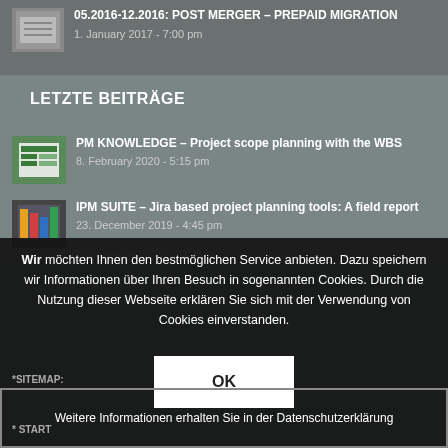05.2016-12.2016: POST MERGER – PREPAID MIGRATION
1. January 2017 - 7:00 pm
LETZTE BEITRÄGE
PM KNOWLEDGE – Project scope planning with the WBS
8. February 2020 - 5:15 pm
IPM SUITE – Jira based project planning tools: A field report
23. December 2019 - 4:45 pm
Wir möchten Ihnen den bestmöglichen Service anbieten. Dazu speichern wir Informationen über Ihren Besuch in sogenannten Cookies. Durch die Nutzung dieser Webseite erklären Sie sich mit der Verwendung von Cookies einverstanden.
OK
*SITEMAP:
Weitere Informationen erhalten Sie in der Datenschutzerklärung
* START